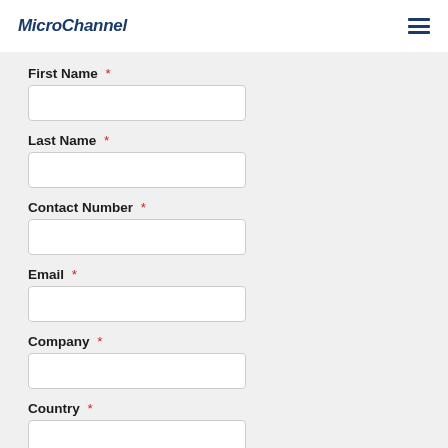MicroChannel
First Name *
Last Name *
Contact Number *
Email *
Company *
Country *